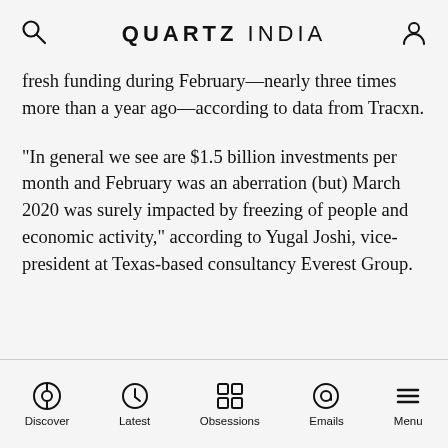QUARTZ INDIA
fresh funding during February—nearly three times more than a year ago—according to data from Tracxn.
“In general we see are $1.5 billion investments per month and February was an aberration (but) March 2020 was surely impacted by freezing of people and economic activity,” according to Yugal Joshi, vice-president at Texas-based consultancy Everest Group.
Discover | Latest | Obsessions | Emails | Menu